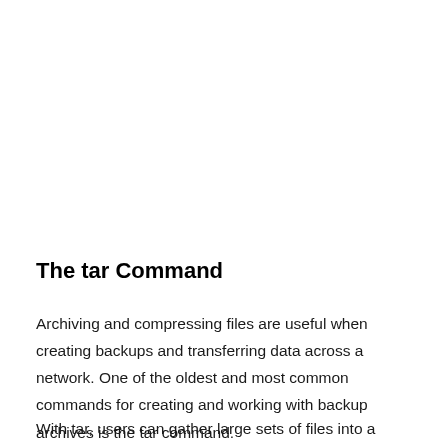The tar Command
Archiving and compressing files are useful when creating backups and transferring data across a network. One of the oldest and most common commands for creating and working with backup archives is the tar command.
With tar, users can gather large sets of files into a single